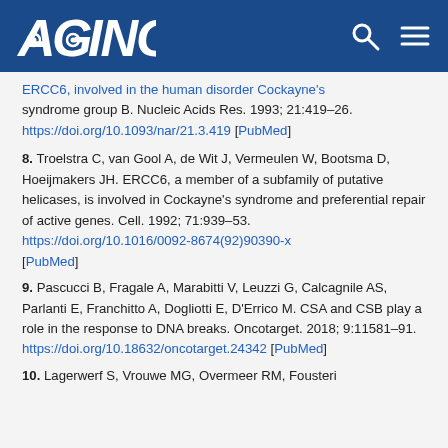AGING
ERCC6, involved in the human disorder Cockayne's syndrome group B. Nucleic Acids Res. 1993; 21:419–26. https://doi.org/10.1093/nar/21.3.419 [PubMed]
8. Troelstra C, van Gool A, de Wit J, Vermeulen W, Bootsma D, Hoeijmakers JH. ERCC6, a member of a subfamily of putative helicases, is involved in Cockayne's syndrome and preferential repair of active genes. Cell. 1992; 71:939–53. https://doi.org/10.1016/0092-8674(92)90390-x [PubMed]
9. Pascucci B, Fragale A, Marabitti V, Leuzzi G, Calcagnile AS, Parlanti E, Franchitto A, Dogliotti E, D'Errico M. CSA and CSB play a role in the response to DNA breaks. Oncotarget. 2018; 9:11581–91. https://doi.org/10.18632/oncotarget.24342 [PubMed]
10. Lagerwerf S, Vrouwe MG, Overmeer RM, Fousteri